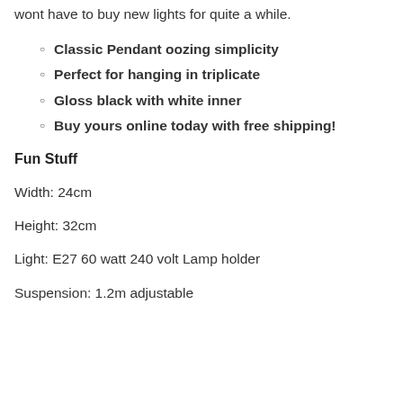wont have to buy new lights for quite a while.
Classic Pendant oozing simplicity
Perfect for hanging in triplicate
Gloss black with white inner
Buy yours online today with free shipping!
Fun Stuff
Width: 24cm
Height: 32cm
Light: E27 60 watt 240 volt Lamp holder
Suspension: 1.2m adjustable